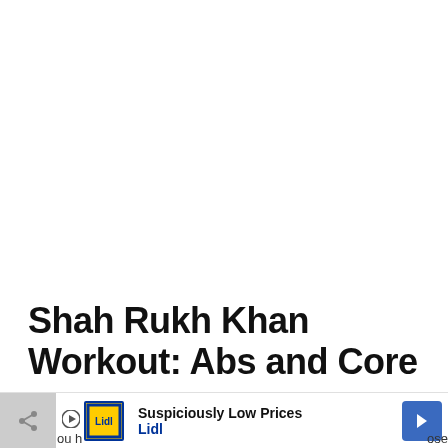Shah Rukh Khan Workout: Abs and Core
Warm Up:
[Figure (screenshot): Advertisement banner at the bottom: Lidl 'Suspiciously Low Prices' ad with yellow/blue Lidl logo, play button, and blue navigation arrow. Share button on far left.]